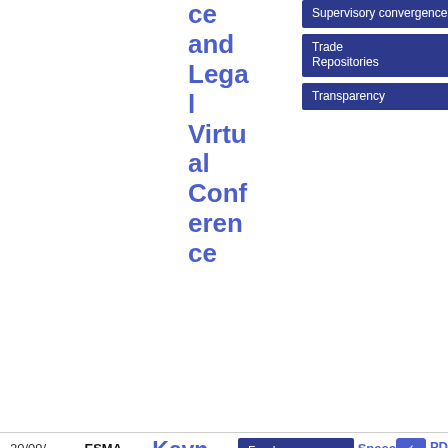ce and Legal Virtual Conference
Supervisory convergence
Trade Repositories
Transparency
20/09/2021
ESMA 34-38
Keynote speech Natasha Cazenave - Salone del
Fund Management
MiFID - Investor Protection
Speeches
Speech
PDF
17 6.16 KB